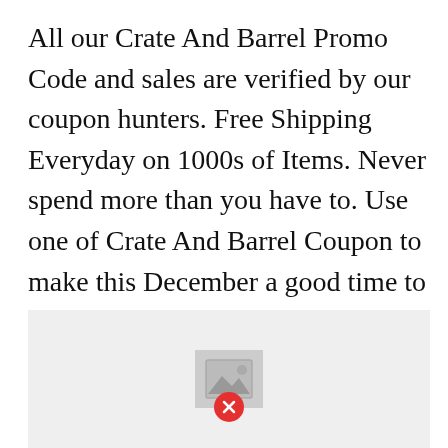All our Crate And Barrel Promo Code and sales are verified by our coupon hunters. Free Shipping Everyday on 1000s of Items. Never spend more than you have to. Use one of Crate And Barrel Coupon to make this December a good time to save. Browse Log in Join for free.
[Figure (other): Broken image placeholder with a gray background and a missing image icon with a red X error badge]